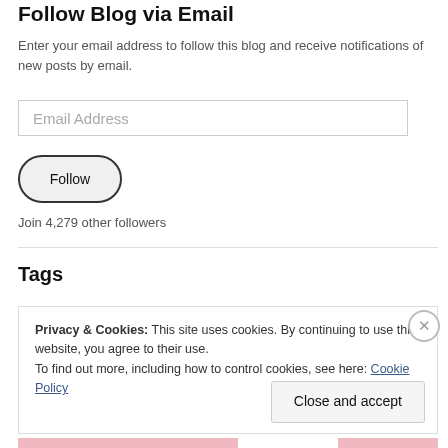Follow Blog via Email
Enter your email address to follow this blog and receive notifications of new posts by email.
Email Address
Follow
Join 4,279 other followers
Tags
Privacy & Cookies: This site uses cookies. By continuing to use this website, you agree to their use.
To find out more, including how to control cookies, see here: Cookie Policy
Close and accept